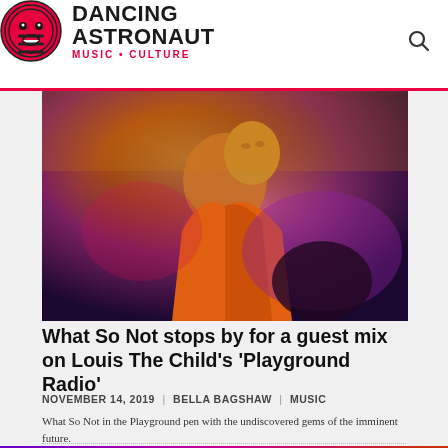DANCING ASTRONAUT MUSIC + CULTURE
[Figure (photo): A man in an orange jacket under colorful purple and warm stage lighting, looking upward, photographed in a music/nightlife setting.]
What So Not stops by for a guest mix on Louis The Child's 'Playground Radio'
NOVEMBER 14, 2019 | BELLA BAGSHAW | MUSIC
What So Not in the Playground pen with the undiscovered gems of the imminent future.